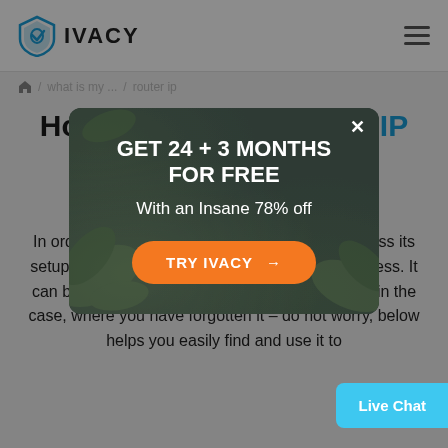IVACY
/ what is my ... / router ip
How to find your router IP address?
[Figure (screenshot): Ivacy VPN promotional modal popup overlay with dark green background and decorative leaf/plant motifs. Text reads 'GET 24 + 3 MONTHS FOR FREE' and 'With an Insane 78% off' with an orange 'TRY IVACY →' button. An X close button is in the top right corner.]
In order to view your router's web page and access its setup, you will need to know your Router IP Address. It can be done on both Windows & Mac. However, in the case, where you have forgotten it – do not worry, below helps you easily find and use it to